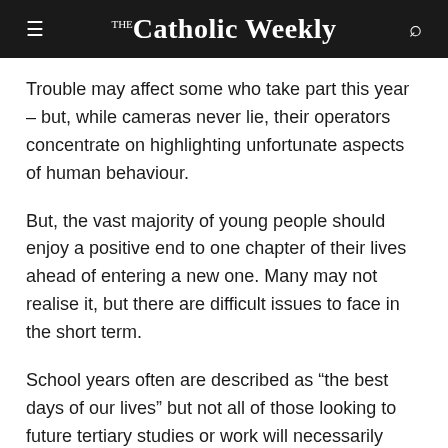The Catholic Weekly
Trouble may affect some who take part this year – but, while cameras never lie, their operators concentrate on highlighting unfortunate aspects of human behaviour.
But, the vast majority of young people should enjoy a positive end to one chapter of their lives ahead of entering a new one. Many may not realise it, but there are difficult issues to face in the short term.
School years often are described as “the best days of our lives” but not all of those looking to future tertiary studies or work will necessarily grasp that sentiment this month.
They’ll likely rejoice at wrapping up aspects of the close